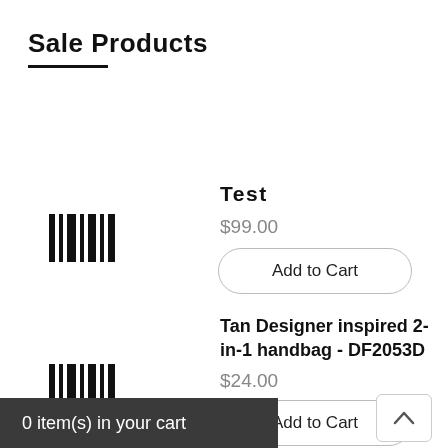Sale Products
[Figure (illustration): Barcode icon representing product image placeholder for Test product]
Test
$99.00
Add to Cart
[Figure (illustration): Barcode icon representing product image placeholder for Tan Designer inspired 2-in-1 handbag]
Tan Designer inspired 2-in-1 handbag - DF2053D
$24.00
Add to Cart
0 item(s) in your cart